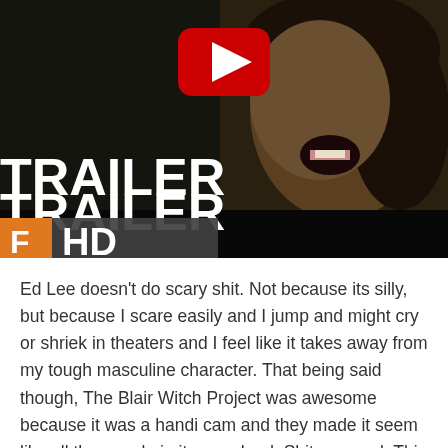[Figure (screenshot): YouTube video thumbnail showing a horror movie trailer. A distressed person with dirty, scarred face and curly hair appears on the right. Large white bold text 'TRAILER' on the left, and an orange/gray banner with 'F HD' text below. A red YouTube play button icon is centered at the top.]
Ed Lee doesn't do scary shit. Not because its silly, but because I scare easily and I jump and might cry or shriek in theaters and I feel like it takes away from my tough masculine character. That being said though, The Blair Witch Project was awesome because it was a handi cam and they made it seem like all the people in it were dead. Shit was real. This was before IMDB became a house hold tool and